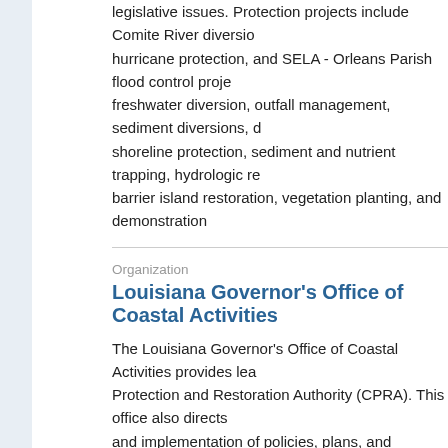legislative issues. Protection projects include Comite River diversion, hurricane protection, and SELA - Orleans Parish flood control projects, freshwater diversion, outfall management, sediment diversions, shoreline protection, sediment and nutrient trapping, hydrologic restoration, barrier island restoration, vegetation planting, and demonstration projects.
Organization
Louisiana Governor's Office of Coastal Activities
The Louisiana Governor's Office of Coastal Activities provides leadership for the Coastal Protection and Restoration Authority (CPRA). This office also directs the development and implementation of policies, plans, and programs which encourage the wise use of and achieve a proper balance between development and conservation and nourishment of coastal resources. .
Organization
NOAA Office for Coastal Management
The Office for Coastal Management (OCM) is tasked with implementing the Coastal Zone Management Act. OCM activities include working with states and territories to combat coastal flooding, operating a system of National Estuarine Research Reserves, and